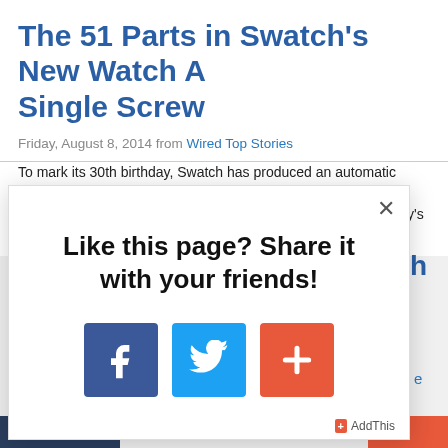The 51 Parts in Swatch's New Watch A Single Screw
Friday, August 8, 2014 from Wired Top Stories
To mark its 30th birthday, Swatch has produced an automatic mecha 51 parts, the same number of components used in the company's firs
[Figure (screenshot): Social sharing modal overlay with text 'Like this page? Share it with your friends!' and Facebook, Twitter, and AddThis buttons]